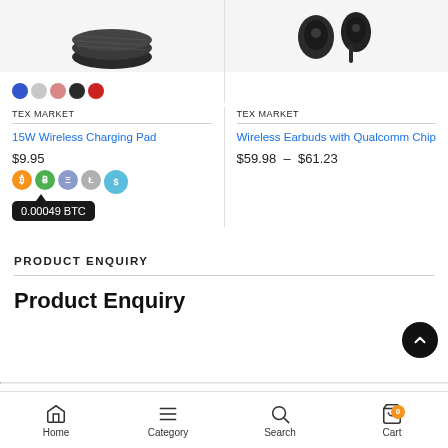[Figure (photo): Product image of 15W Wireless Charging Pad (top, cropped)]
[Figure (photo): Product image of Wireless Earbuds with Qualcomm Chip (top, cropped)]
TEX MARKET
TEX MARKET
15W Wireless Charging Pad
Wireless Earbuds with Qualcomm Chip
$9.95
$59.98 – $61.23
0.00049 BTC
PRODUCT ENQUIRY
Product Enquiry
Home  Category  Search  Cart